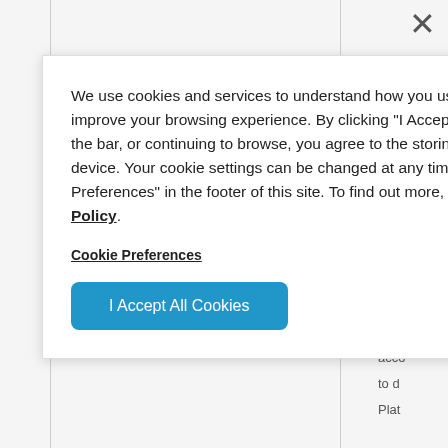We use cookies and services to understand how you use our site and to improve your browsing experience. By clicking "I Accept All Cookies", closing the bar, or continuing to browse, you agree to the storing of cookies on your device. Your cookie settings can be changed at any time by clicking "Cookie Preferences" in the footer of this site. To find out more, please view our Privacy Policy.
Cookie Preferences
I Accept All Cookies